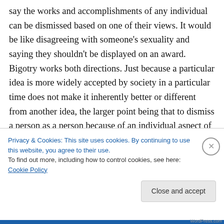say the works and accomplishments of any individual can be dismissed based on one of their views. It would be like disagreeing with someone's sexuality and saying they shouldn't be displayed on an award. Bigotry works both directions. Just because a particular idea is more widely accepted by society in a particular time does not make it inherently better or different from another idea, the larger point being that to dismiss a person as a person because of an individual aspect of their lives is simply not
Privacy & Cookies: This site uses cookies. By continuing to use this website, you agree to their use.
To find out more, including how to control cookies, see here: Cookie Policy